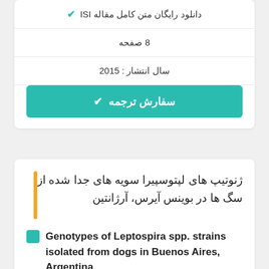✓ دانلود رایگان متن کامل مقاله ISI
8 صفحه
سال انتشار : 2015
✓ سفارش ترجمه
ژنوتیپ های لپتوسپیرا سویه های جدا شده از سگ ها در بوینس آیرس، آرژانتین
Genotypes of Leptospira spp. strains isolated from dogs in Buenos Aires, Argentina